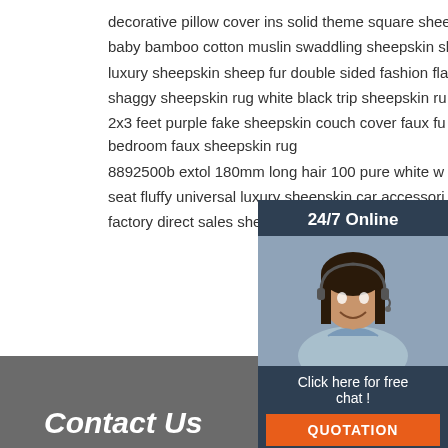decorative pillow cover ins solid theme square sheepskin linen throw pillow case 12 x12 cushion cover
baby bamboo cotton muslin swaddling sheepskin sheep fur blanket hairband 3pcs gift set
luxury sheepskin sheep fur double sided fashion fla pv fleece blanket
shaggy sheepskin rug white black trip sheepskin ru room
2x3 feet purple fake sheepskin couch cover faux fu the best quality fabric artificial fur carpet soft coml bedroom faux sheepskin rug
8892500b extol 180mm long hair 100 pure white w sheepskin fleece polishing pad lace
seat fluffy universal luxury sheepskin car accessori
factory direct sales sheepskin pillow case 18x18 throw jacquard cushion covers
[Figure (photo): Customer service representative woman with headset, 24/7 Online support widget with orange QUOTATION button]
[Figure (other): TOP back-to-top button with orange dots above orange TOP text]
Contact Us